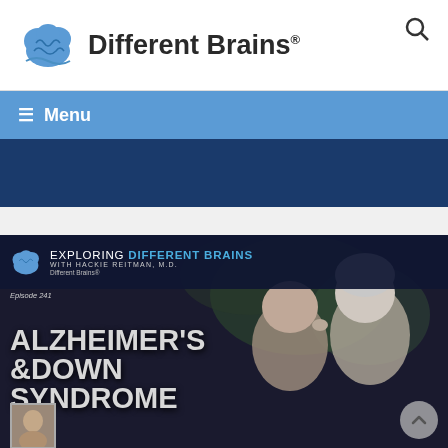[Figure (logo): Different Brains logo with blue brain icon and brand name]
≡  Menu
[Figure (screenshot): Dark blue navigation/banner band]
[Figure (illustration): Episode thumbnail image for 'Exploring Different Brains with Hackie Reitman M.D.' Episode 241: Alzheimer's & Down Syndrome, showing two people touching foreheads, with small portrait photo at bottom left and scroll-up button at bottom right]